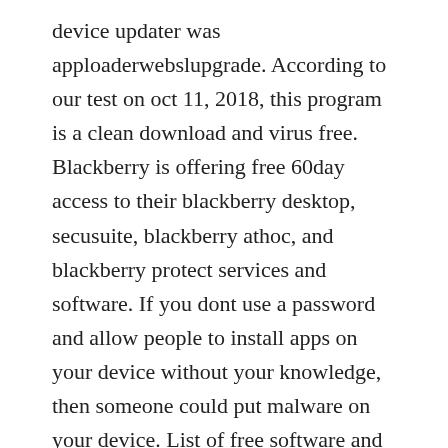device updater was apploaderwebslupgrade. According to our test on oct 11, 2018, this program is a clean download and virus free. Blackberry is offering free 60day access to their blackberry desktop, secusuite, blackberry athoc, and blackberry protect services and software. If you dont use a password and allow people to install apps on your device without your knowledge, then someone could put malware on your device. List of free software and services during coronavirus outbreak. Should an antivirus be installed on blackberry classic